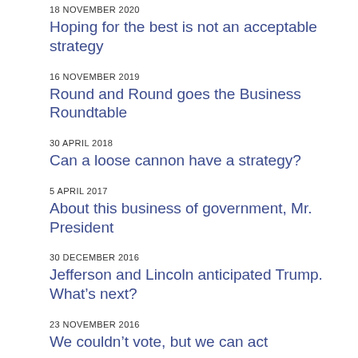18 NOVEMBER 2020 — Hoping for the best is not an acceptable strategy
16 NOVEMBER 2019 — Round and Round goes the Business Roundtable
30 APRIL 2018 — Can a loose cannon have a strategy?
5 APRIL 2017 — About this business of government, Mr. President
30 DECEMBER 2016 — Jefferson and Lincoln anticipated Trump. What’s next?
23 NOVEMBER 2016 — We couldn’t vote, but we can act
23 JUNE 2016 — Customer Service, or serving customers